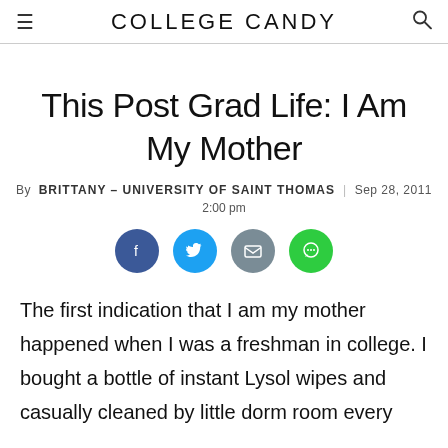COLLEGE CANDY
This Post Grad Life: I Am My Mother
By BRITTANY - UNIVERSITY OF SAINT THOMAS | Sep 28, 2011 2:00 pm
[Figure (infographic): Social sharing buttons: Facebook (blue), Twitter (cyan), Email (gray), Comment (green)]
The first indication that I am my mother happened when I was a freshman in college. I bought a bottle of instant Lysol wipes and casually cleaned by little dorm room every